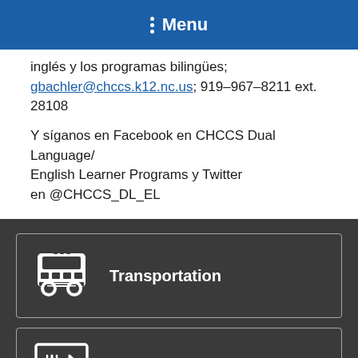Menu
inglés y los programas bilingües; gbachler@chccs.k12.nc.us; 919-967-8211 ext. 28108
Y síganos en Facebook en CHCCS Dual Language/English Learner Programs y Twitter en @CHCCS_DL_EL
Transportation
Lunch Menus